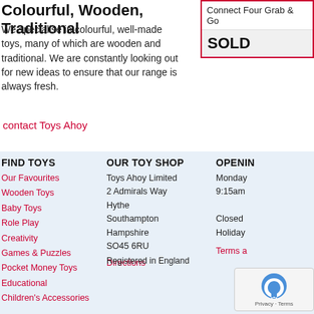Colourful, Wooden, Traditional
We specialise in colourful, well-made toys, many of which are wooden and traditional. We are constantly looking out for new ideas to ensure that our range is always fresh.
contact Toys Ahoy
| Connect Four Grab & Go |
| SOLD |
FIND TOYS
Our Favourites
Wooden Toys
Baby Toys
Role Play
Creativity
Games & Puzzles
Pocket Money Toys
Educational
Children's Accessories
OUR TOY SHOP
Toys Ahoy Limited
2 Admirals Way
Hythe
Southampton
Hampshire
SO45 6RU
Directions
OPENING
Monday
9:15am
Closed
Holiday
Terms a
Registered in England